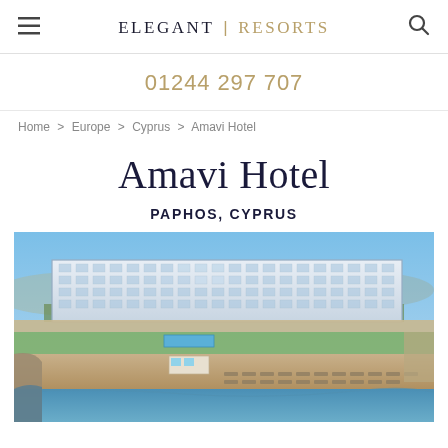ELEGANT | RESORTS
01244 297 707
Home > Europe > Cyprus > Amavi Hotel
Amavi Hotel
PAPHOS, CYPRUS
[Figure (photo): Aerial view of the Amavi Hotel in Paphos, Cyprus — a large modern glass-fronted multi-story resort building with palm trees, beach access, sun loungers, and a pool area visible, set against a blue sky.]